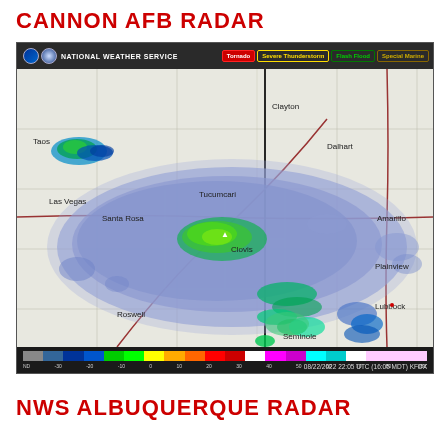CANNON AFB RADAR
[Figure (other): National Weather Service radar image showing storm system over New Mexico/Texas Panhandle region dated 08/22/2022 22:05 UTC (16:05 MDT) KFDX. Large blue/purple precipitation blob centered near Tucumcari/Clovis NM, with green/yellow cores indicating heavier precipitation. Alert buttons show: Tornado (red), Severe Thunderstorm (yellow outline), Flash Flood (green outline), Special Marine (gold outline). Color bar scale from ND to 80 dBZ.]
NWS ALBUQUERQUE RADAR